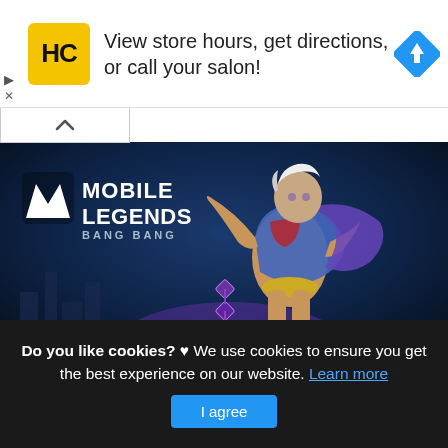[Figure (infographic): Advertisement banner for a hair salon (HC logo, yellow square with HC letters) with text 'View store hours, get directions, or call your salon!' and a blue navigation/directions diamond icon on the right. Small play and X controls on the left edge.]
[Figure (screenshot): Mobile Legends: Bang Bang game screenshot showing a character in blue/purple armor swinging a chain in a dark fantasy environment. The Mobile Legends Bang Bang logo is visible in the upper left of the image. Above the image is a white collapse chevron bar.]
Do you like cookies? ♥ We use cookies to ensure you get the best experience on our website. Learn more
I agree